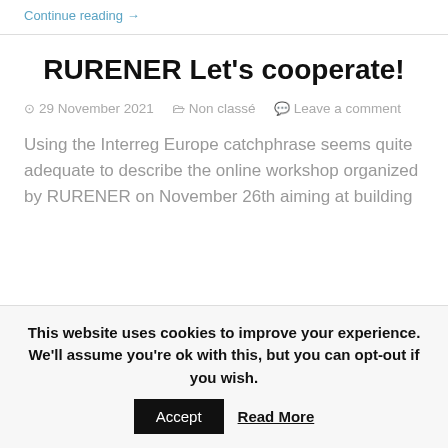Continue reading →
RURENER Let's cooperate!
29 November 2021   Non classé   Leave a comment
Using the Interreg Europe catchphrase seems quite adequate to describe the online workshop organized by RURENER on November 26th aiming at building
This website uses cookies to improve your experience. We'll assume you're ok with this, but you can opt-out if you wish.
Accept   Read More